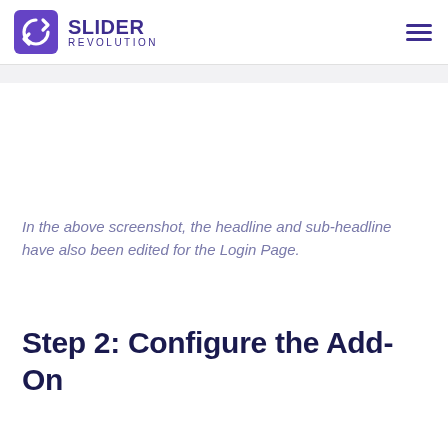SLIDER REVOLUTION
In the above screenshot, the headline and sub-headline have also been edited for the Login Page.
Step 2: Configure the Add-On